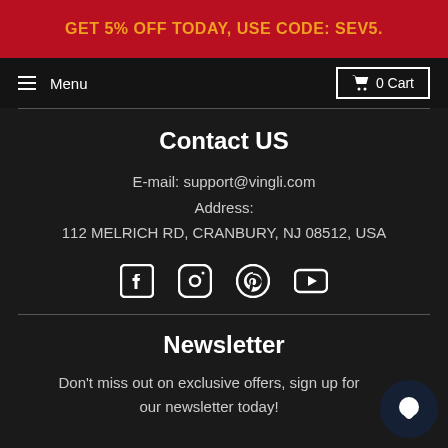GET 5% OFF TODAY, USE CODE: SEV5.
Menu   0 Cart
Contact US
E-mail: support@vingli.com
Address:
112 MELRICH RD, CRANBURY, NJ 08512, USA
[Figure (illustration): Social media icons: Facebook, Instagram, Pinterest, YouTube]
Newsletter
Don't miss out on exclusive offers, sign up for our newsletter today!